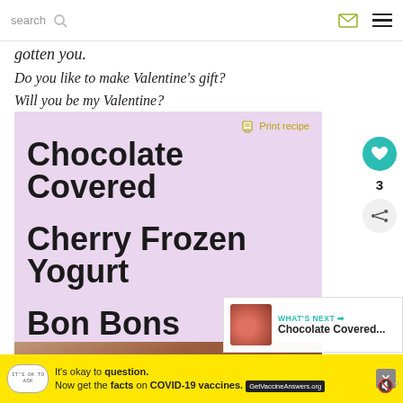search  [envelope icon] [menu icon]
gotten you.
Do you like to make Valentine's gift?
Will you be my Valentine?
[Figure (infographic): Recipe card with light purple/lavender background. Title reads 'Chocolate Covered Cherry Frozen Yogurt Bon Bons' in bold black sans-serif text. 'Print recipe' link in gold/olive color at top right of card.]
WHAT'S NEXT → Chocolate Covered...
It's okay to question. Now get the facts on COVID-19 vaccines. GetVaccineAnswers.org